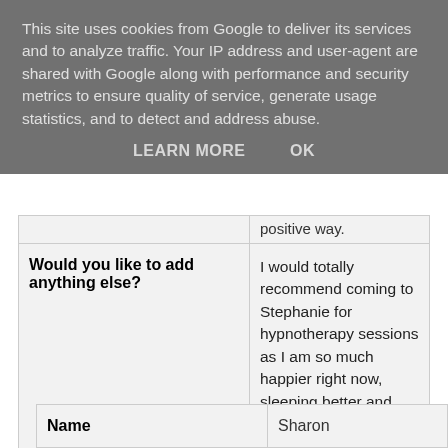This site uses cookies from Google to deliver its services and to analyze traffic. Your IP address and user-agent are shared with Google along with performance and security metrics to ensure quality of service, generate usage statistics, and to detect and address abuse.
LEARN MORE   OK
|  | positive way. |
| Would you like to add anything else? | I would totally recommend coming to Stephanie for hypnotherapy sessions as I am so much happier right now, sleeping better and feeling so much more confident with myself and my life! Thank you Stephanie! |
| Name | Sharon |